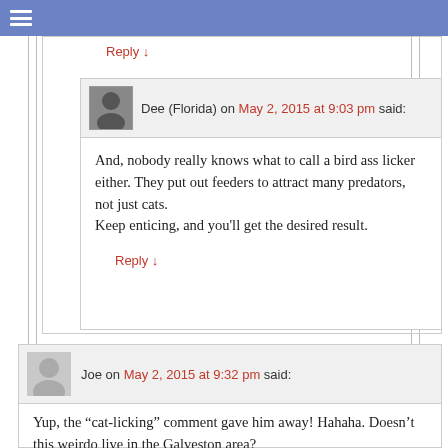Reply ↓
Dee (Florida) on May 2, 2015 at 9:03 pm said:
And, nobody really knows what to call a bird ass licker either. They put out feeders to attract many predators, not just cats.
Keep enticing, and you'll get the desired result.
Reply ↓
Joe on May 2, 2015 at 9:32 pm said:
Yup, the “cat-licking” comment gave him away! Hahaha. Doesn’t this weirdo live in the Galveston area?
Reply ↓